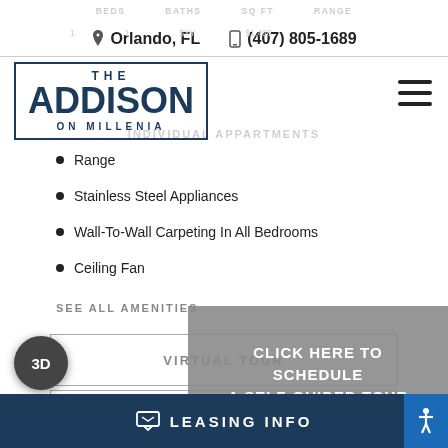BEDS BATHS SQ FT RANGE — Orlando, FL — (407) 805-1689
[Figure (logo): THE ADDISON ON MILLENIA logo with rectangular border]
Range
Stainless Steel Appliances
Wall-To-Wall Carpeting In All Bedrooms
Ceiling Fan
SEE ALL AMENITIES
VIRTUAL TOUR
CONTACT US
CLICK HERE TO SCHEDULE A SELF-GUIDED TOUR
LEASING INFO